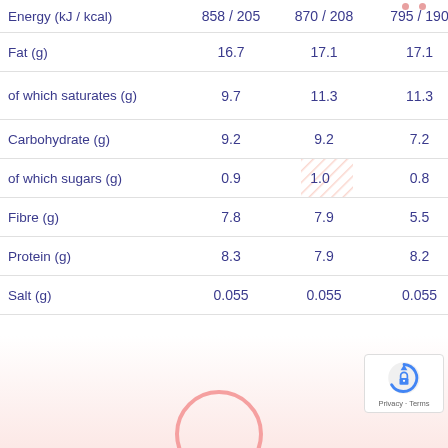|  | Col1 | Col2 | Col3 |
| --- | --- | --- | --- |
| Energy (kJ / kcal) | 858 / 205 | 870 / 208 | 795 / 190 |
| Fat (g) | 16.7 | 17.1 | 17.1 |
| of which saturates (g) | 9.7 | 11.3 | 11.3 |
| Carbohydrate (g) | 9.2 | 9.2 | 7.2 |
| of which sugars (g) | 0.9 | 1.0 | 0.8 |
| Fibre (g) | 7.8 | 7.9 | 5.5 |
| Protein (g) | 8.3 | 7.9 | 8.2 |
| Salt (g) | 0.055 | 0.055 | 0.055 |